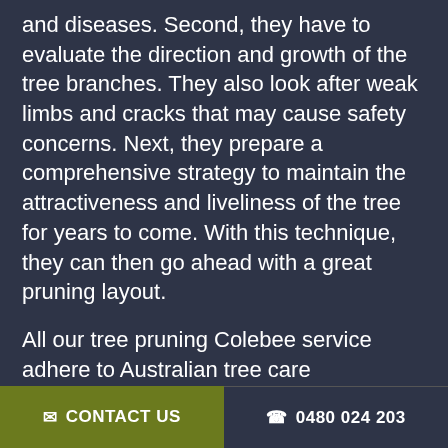and diseases. Second, they have to evaluate the direction and growth of the tree branches. They also look after weak limbs and cracks that may cause safety concerns. Next, they prepare a comprehensive strategy to maintain the attractiveness and liveliness of the tree for years to come. With this technique, they can then go ahead with a great pruning layout.
All our tree pruning Colebee service adhere to Australian tree care regulations, which means that your trees will be well cared for. We fully believe in safety first and that is why we place a large amount of effort and time into the preparation of every task, job and project we undertake. We also make sure to clean up at the end of every tree pruning project in order to ensure that your property is left clean and tidy
✉ CONTACT US   ☎ 0480 024 203